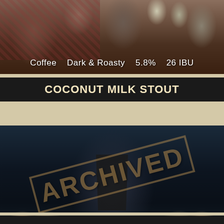[Figure (photo): Top portion of beer listing page showing a photo of people at a bar with bottles, overlaid with text: Coffee  Dark & Roasty  5.8%  26 IBU]
Coffee   Dark & Roasty   5.8%   26 IBU
COCONUT MILK STOUT
[Figure (photo): Photo of hands holding a dark stout beer in a branded pint glass with shredded coconut, with an ARCHIVED watermark overlay. Info text: Dark & Roasty  6.0%  26 IBU]
Dark & Roasty   6.0%   26 IBU
HAZELNUT PORTER